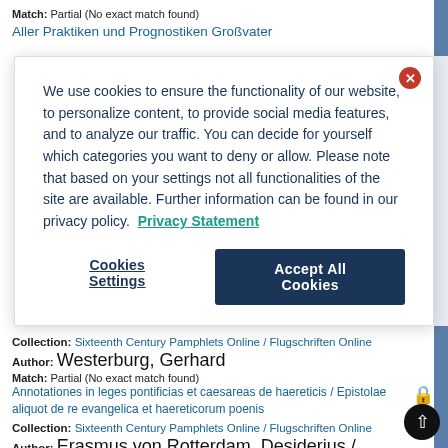Match: Partial (No exact match found)
Aller Praktiken und Prognostiken Großvater
We use cookies to ensure the functionality of our website, to personalize content, to provide social media features, and to analyze our traffic. You can decide for yourself which categories you want to deny or allow. Please note that based on your settings not all functionalities of the site are available. Further information can be found in our privacy policy. Privacy Statement
Cookies Settings
Accept All Cookies
Collection: Sixteenth Century Pamphlets Online / Flugschriften Online
Author: Westerburg, Gerhard
Match: Partial (No exact match found)
Annotationes in leges pontificias et caesareas de haereticis / Epistolae aliquot de re evangelica et haereticorum poenis
Collection: Sixteenth Century Pamphlets Online / Flugschriften Online
Author: Erasmus von Rotterdam, Desiderius / Geldenhauer, Gerhard
Match: Partial (No exact match found)
An statui et dignitati ecclesiasticorum magis conducat, admittere synodum